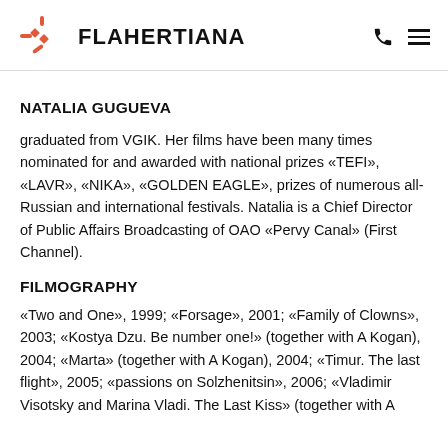FLAHERTIANA
NATALIA GUGUEVA
graduated from VGIK. Her films have been many times nominated for and awarded with national prizes «TEFI», «LAVR», «NIKA», «GOLDEN EAGLE», prizes of numerous all-Russian and international festivals. Natalia is a Chief Director of Public Affairs Broadcasting of OAO «Pervy Canal» (First Channel).
FILMOGRAPHY
«Two and One», 1999; «Forsage», 2001; «Family of Clowns», 2003; «Kostya Dzu. Be number one!» (together with A Kogan), 2004; «Marta» (together with A Kogan), 2004; «Timur. The last flight», 2005; «passions on Solzhenitsin», 2006; «Vladimir Visotsky and Marina Vladi. The Last Kiss» (together with A